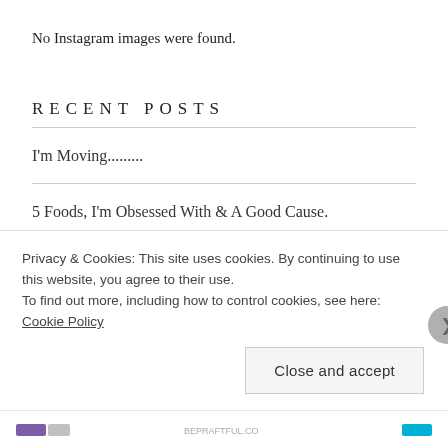No Instagram images were found.
RECENT POSTS
I'm Moving.........
5 Foods, I'm Obsessed With & A Good Cause.
I Tried Rolling My Clothes & It Sucked, So Let's Go Visit Tuscany & Drink Wine Instead?
Privacy & Cookies: This site uses cookies. By continuing to use this website, you agree to their use.
To find out more, including how to control cookies, see here: Cookie Policy
Close and accept